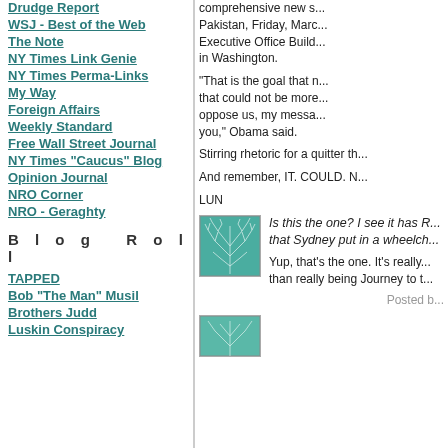Drudge Report
WSJ - Best of the Web
The Note
NY Times Link Genie
NY Times Perma-Links
My Way
Foreign Affairs
Weekly Standard
Free Wall Street Journal
NY Times "Caucus" Blog
Opinion Journal
NRO Corner
NRO - Geraghty
Blog Roll
TAPPED
Bob "The Man" Musil
Brothers Judd
Luskin Conspiracy
comprehensive new s... Pakistan, Friday, Marc... Executive Office Build... in Washington.
"That is the goal that n... that could not be more... oppose us, my messa... you," Obama said.
Stirring rhetoric for a quitter th...
And remember, IT. COULD. N...
LUN
[Figure (illustration): Teal/green decorative square avatar with white branching tree/vein pattern]
Is this the one? I see it has R... that Sydney put in a wheelch...
Yup, that's the one. It's really... than really being Journey to t...
Posted b...
[Figure (illustration): Teal/green decorative square avatar with white leaf/vein pattern, partially visible]